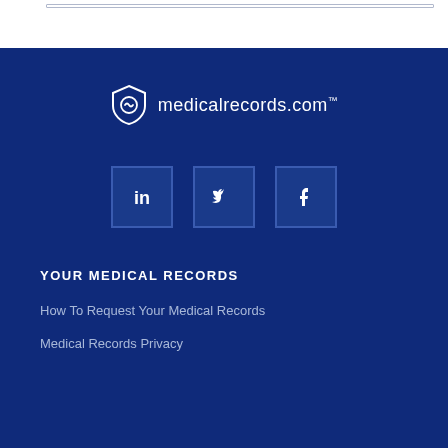[Figure (logo): medicalrecords.com logo with shield icon on dark blue background]
[Figure (infographic): Three social media icon boxes: LinkedIn, Twitter, Facebook on dark blue background]
YOUR MEDICAL RECORDS
How To Request Your Medical Records
Medical Records Privacy